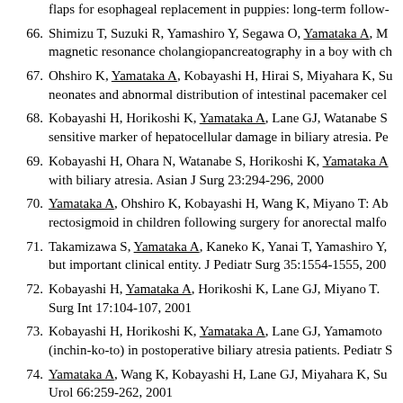flaps for esophageal replacement in puppies: long-term follow-
66. Shimizu T, Suzuki R, Yamashiro Y, Segawa O, Yamataka A, M magnetic resonance cholangiopancreatography in a boy with ch
67. Ohshiro K, Yamataka A, Kobayashi H, Hirai S, Miyahara K, Su neonates and abnormal distribution of intestinal pacemaker cel
68. Kobayashi H, Horikoshi K, Yamataka A, Lane GJ, Watanabe S sensitive marker of hepatocellular damage in biliary atresia. Pe
69. Kobayashi H, Ohara N, Watanabe S, Horikoshi K, Yamataka A with biliary atresia. Asian J Surg 23:294-296, 2000
70. Yamataka A, Ohshiro K, Kobayashi H, Wang K, Miyano T: Ab rectosigmoid in children following surgery for anorectal malfo
71. Takamizawa S, Yamataka A, Kaneko K, Yanai T, Yamashiro Y, but important clinical entity. J Pediatr Surg 35:1554-1555, 200
72. Kobayashi H, Yamataka A, Horikoshi K, Lane GJ, Miyano T. Surg Int 17:104-107, 2001
73. Kobayashi H, Horikoshi K, Yamataka A, Lane GJ, Yamamoto (inchin-ko-to) in postoperative biliary atresia patients. Pediatr S
74. Yamataka A, Wang K, Kobayashi H, Lane GJ, Miyahara K, Su Urol 66:259-262, 2001
75. Yamataka A, Hatano M, Kobayashi H, Wang K, Miyahara K, S